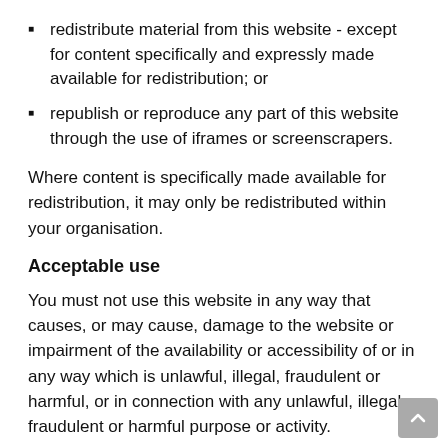redistribute material from this website - except for content specifically and expressly made available for redistribution; or
republish or reproduce any part of this website through the use of iframes or screenscrapers.
Where content is specifically made available for redistribution, it may only be redistributed within your organisation.
Acceptable use
You must not use this website in any way that causes, or may cause, damage to the website or impairment of the availability or accessibility of or in any way which is unlawful, illegal, fraudulent or harmful, or in connection with any unlawful, illegal, fraudulent or harmful purpose or activity.
You must not use this website to copy, store, host, transmit, send, use, publish or distribute any material which consists of